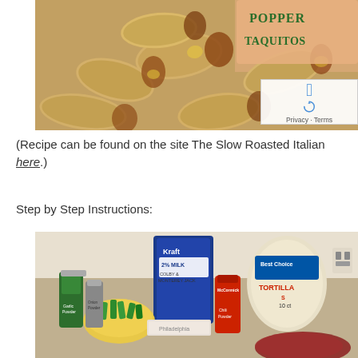[Figure (photo): Jalapeño Popper Taquitos food photo — rolled taquitos with meat and cheese filling, stacked on a surface, with text 'Popper Taquitos' visible in the upper right on a peach/salmon background.]
(Recipe can be found on the site The Slow Roasted Italian here.)
Step by Step Instructions:
[Figure (photo): Ingredients photo showing Kraft 2% Milk Colby & Monterey Jack cheese bag, tortillas package (Best Choice, 10 count), green onions in a bowl, spice jars (garlic powder, onion powder, chili powder, McCormick spice), cream cheese box, and raw ground beef on a cutting board, laid out on a kitchen counter.]